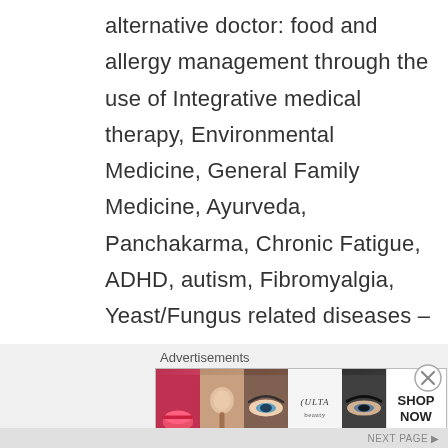alternative doctor: food and allergy management through the use of Integrative medical therapy, Environmental Medicine, General Family Medicine, Ayurveda, Panchakarma, Chronic Fatigue, ADHD, autism, Fibromyalgia, Yeast/Fungus related diseases – Candidacies, mercury dental replacement and detoxification, Natural Thyroid Replacement, Weight loss, Lyme Disease, Irritable Bowel Disease, Attention Deficit Disorder, Pervasive Developmental
Advertisements
[Figure (photo): Advertisement banner for ULTA beauty showing cosmetic product imagery — lipstick, makeup brush, eyes with makeup, ULTA Beauty logo — with SHOP NOW call to action]